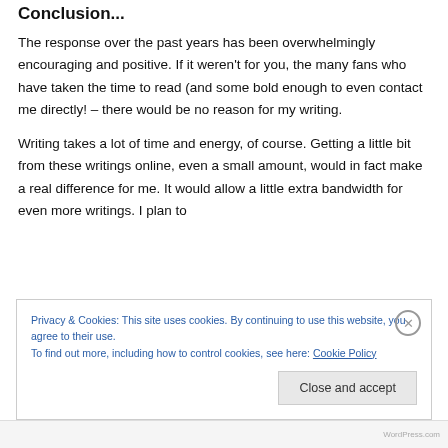Conclusion...
The response over the past years has been overwhelmingly encouraging and positive. If it weren't for you, the many fans who have taken the time to read (and some bold enough to even contact me directly! – there would be no reason for my writing.
Writing takes a lot of time and energy, of course. Getting a little bit from these writings online, even a small amount, would in fact make a real difference for me. It would allow a little extra bandwidth for even more writings. I plan to
Privacy & Cookies: This site uses cookies. By continuing to use this website, you agree to their use.
To find out more, including how to control cookies, see here: Cookie Policy
Close and accept